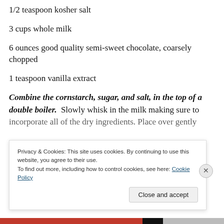1/2 teaspoon kosher salt
3 cups whole milk
6 ounces good quality semi-sweet chocolate, coarsely chopped
1 teaspoon vanilla extract
Combine the cornstarch, sugar, and salt, in the top of a double boiler. Slowly whisk in the milk making sure to incorporate all of the dry ingredients. Place over gently
Privacy & Cookies: This site uses cookies. By continuing to use this website, you agree to their use.
To find out more, including how to control cookies, see here: Cookie Policy
Close and accept